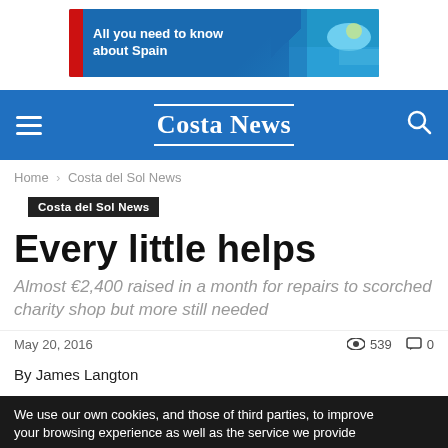[Figure (infographic): Advertisement banner: blue background with 'All you need to know about Spain' text and coastal image on the right]
Costa News
Home › Costa del Sol News
Costa del Sol News
Every little helps
Almost €2,400 raised in a month for repairs to scorched charity shop but more still needed
May 20, 2016   539   0
By James Langton
We use our own cookies, and those of third parties, to improve your browsing experience as well as the service we provide